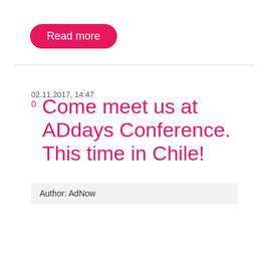[Figure (other): Pink rounded button with white text 'Read more']
02.11.2017, 14:47
0  Come meet us at ADdays Conference. This time in Chile!
Author: AdNow